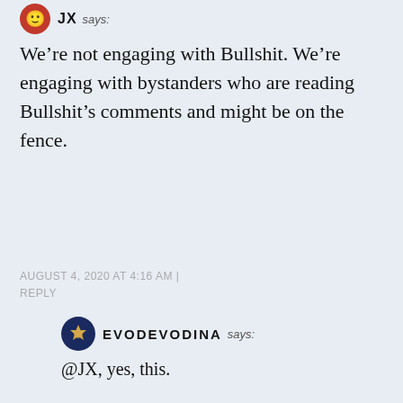JX says:
We’re not engaging with Bullshit. We’re engaging with bystanders who are reading Bullshit’s comments and might be on the fence.
AUGUST 4, 2020 AT 4:16 AM | REPLY
EVODEVODINA says:
@JX, yes, this.
AUGUST 12, 2020 AT 5:43 PM | REPLY